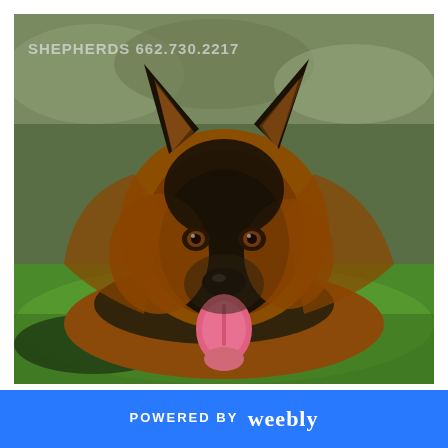[Figure (photo): Close-up portrait of a German Shepherd dog with black and tan fur, large erect ears, brown eyes, black muzzle, tongue out, lying on green grass with blurred background. Watermark text 'SHEPHERDS 662.730.2217' visible in upper left of photo.]
POWERED BY weebly